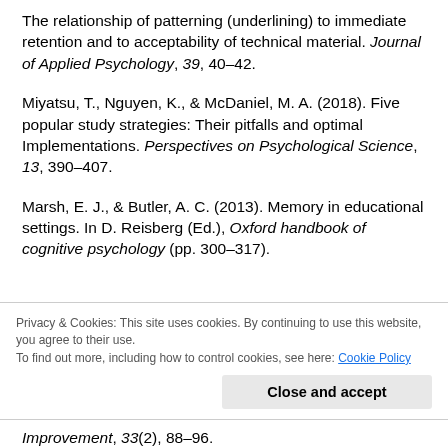The relationship of patterning (underlining) to immediate retention and to acceptability of technical material. Journal of Applied Psychology, 39, 40–42.
Miyatsu, T., Nguyen, K., & McDaniel, M. A. (2018). Five popular study strategies: Their pitfalls and optimal Implementations. Perspectives on Psychological Science, 13, 390–407.
Marsh, E. J., & Butler, A. C. (2013). Memory in educational settings. In D. Reisberg (Ed.), Oxford handbook of cognitive psychology (pp. 300–317).
Privacy & Cookies: This site uses cookies. By continuing to use this website, you agree to their use. To find out more, including how to control cookies, see here: Cookie Policy
Improvement, 33(2), 88–96.